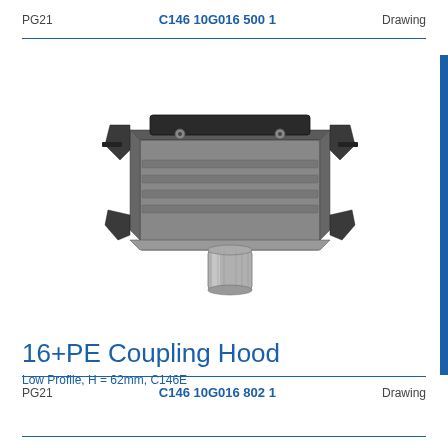PG21   C146 10G016 500 1   Drawing
[Figure (photo): 16+PE Coupling Hood product photo, low profile metal connector hood with latching clips and PG21 cable entry, shown in dark metallic finish]
16+PE Coupling Hood
Low Profile, H = 62mm, C146E
PG21   C146 10G016 802 1   Drawing